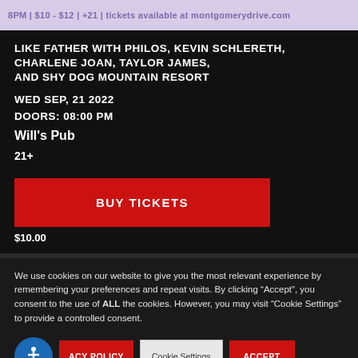8PM | $10 - $12 | +21 | tickets available at montgomerydrive.com
LIKE FATHER WITH PHILOS, KEVIN SCHLERETH, CHARLENE JOAN, TAYLOR JAMES, AND SHY DOG MOUNTAIN RESORT
WED SEP, 21 2022
DOORS: 08:00 PM
Will's Pub
21+
BUY TICKETS
$10.00
We use cookies on our website to give you the most relevant experience by remembering your preferences and repeat visits. By clicking “Accept”, you consent to the use of ALL the cookies. However, you may visit “Cookie Settings” to provide a controlled consent.
ACY POLICY
Cookie Settings
ACCEPT